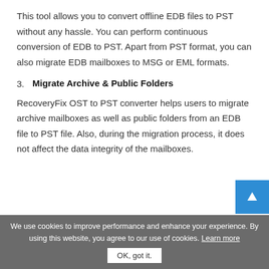This tool allows you to convert offline EDB files to PST without any hassle. You can perform continuous conversion of EDB to PST. Apart from PST format, you can also migrate EDB mailboxes to MSG or EML formats.
3. Migrate Archive & Public Folders
RecoveryFix OST to PST converter helps users to migrate archive mailboxes as well as public folders from an EDB file to PST file. Also, during the migration process, it does not affect the data integrity of the mailboxes.
We use cookies to improve performance and enhance your experience. By using this website, you agree to our use of cookies. Learn more
OK, got it.